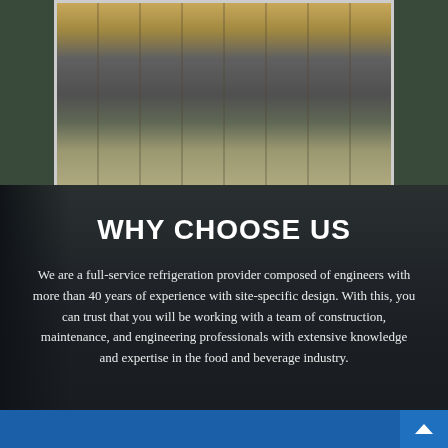[Figure (photo): Industrial refrigeration facility interior showing pipelines and walkways, framed with a light border against a dark background]
WHY CHOOSE US
We are a full-service refrigeration provider composed of engineers with more than 40 years of experience with site-specific design. With this, you can trust that you will be working with a team of construction, maintenance, and engineering professionals with extensive knowledge and expertise in the food and beverage industry.